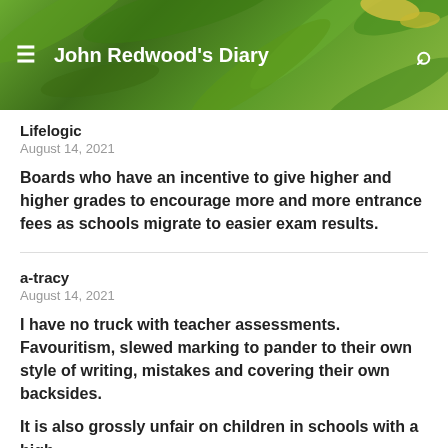John Redwood's Diary
Lifelogic
August 14, 2021
Boards who have an incentive to give higher and higher grades to encourage more and more entrance fees as schools migrate to easier exam results.
a-tracy
August 14, 2021
I have no truck with teacher assessments. Favouritism, slewed marking to pander to their own style of writing, mistakes and covering their own backsides.
It is also grossly unfair on children in schools with a high